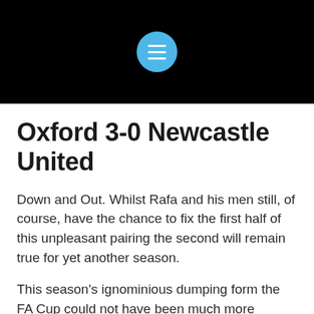[Figure (screenshot): Black header bar with a blue circular hamburger menu icon containing three white horizontal lines]
Oxford 3-0 Newcastle United
Down and Out. Whilst Rafa and his men still, of course, have the chance to fix the first half of this unpleasant pairing the second will remain true for yet another season.
This season’s ignominious dumping form the FA Cup could not have been much more humiliating however, at the hands of first division Oxford.